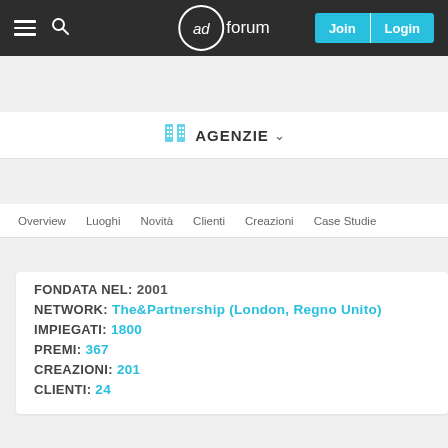adforum — Join Login
AGENZIE
Overview  Luoghi  Novità  Clienti  Creazioni  Case Studie
FONDATA NEL: 2001
NETWORK: The&Partnership (London, Regno Unito)
IMPIEGATI: 1800
PREMI: 367
CREAZIONI: 201
CLIENTI: 24
About The&Partnership
We believe in the power of &, bringing ideas and technology together to power brands and businesses.
We are an independent, future-focused